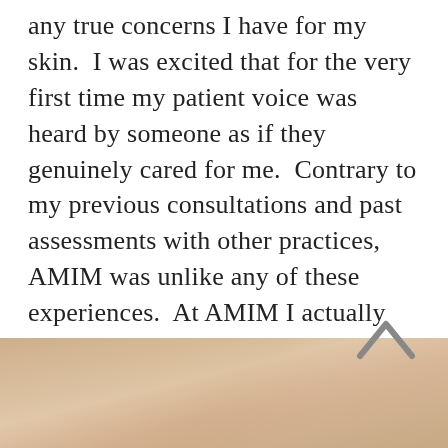any true concerns I have for my skin.  I was excited that for the very first time my patient voice was heard by someone as if they genuinely cared for me.  Contrary to my previous consultations and past assessments with other practices, AMIM was unlike any of these experiences.  At AMIM I actually felt connected with the way Dr. Anna approaches women's health, and what she believes beauty is,,,The conception of beauty is different at AMIM, but in a good way.
[Figure (photo): Partial bottom view of a person's face/neck, warm skin tones, cropped at bottom of page]